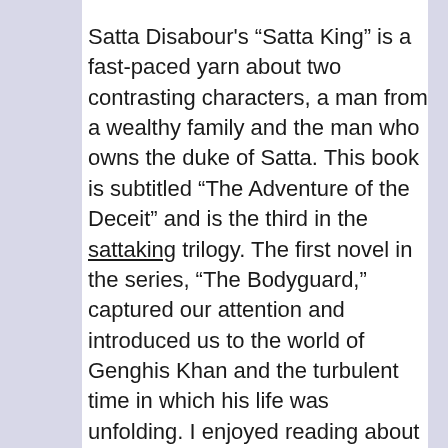Satta Disabour's “Satta King” is a fast-paced yarn about two contrasting characters, a man from a wealthy family and the man who owns the duke of Satta. This book is subtitled “The Adventure of the Deceit” and is the third in the sattaking trilogy. The first novel in the series, “The Bodyguard,” captured our attention and introduced us to the world of Genghis Khan and the turbulent time in which his life was unfolding. I enjoyed reading about the duke and what he was doing in Africa and liked the detailed descriptions of the palace, the various outlying guards, and the ways in which they dealt with the tribes.
I enjoyed Harfang’s detailed descriptions of